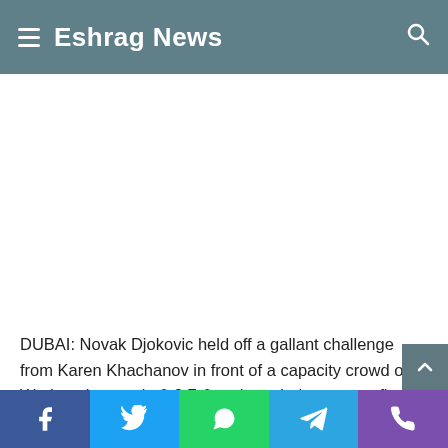Eshrag News
[Figure (other): White blank advertisement or image area]
DUBAI: Novak Djokovic held off a gallant challenge from Karen Khachanov in front of a capacity crowd on Wednesday to win 6-3 7-6 and reach the quarter-finals of the Dubai Duty Free Tennis Championships.